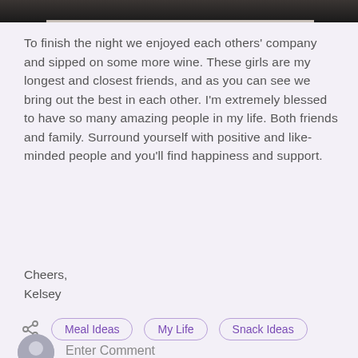[Figure (photo): Partial photo strip at top of page showing bottom edge of an image]
To finish the night we enjoyed each others' company and sipped on some more wine. These girls are my longest and closest friends, and as you can see we bring out the best in each other. I'm extremely blessed to have so many amazing people in my life. Both friends and family. Surround yourself with positive and like-minded people and you'll find happiness and support.
Cheers,
Kelsey
[Figure (infographic): Share icon followed by category tags: Meal Ideas, My Life, Snack Ideas]
Enter Comment